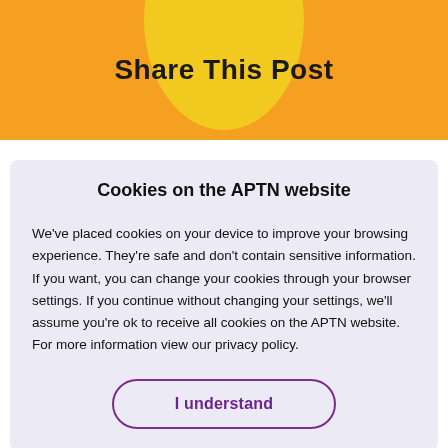Share This Post
Cookies on the APTN website
We've placed cookies on your device to improve your browsing experience. They're safe and don't contain sensitive information. If you want, you can change your cookies through your browser settings. If you continue without changing your settings, we'll assume you're ok to receive all cookies on the APTN website. For more information view our privacy policy.
I understand
[Figure (logo): APTN Aboriginal News logo partially visible at the bottom of the page]